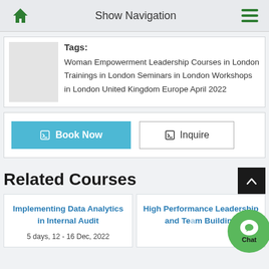Show Navigation
Tags: Woman Empowerment Leadership Courses in London Trainings in London Seminars in London Workshops in London United Kingdom Europe April 2022
Book Now   Inquire
Related Courses
Implementing Data Analytics in Internal Audit
5 days, 12 - 16 Dec, 2022
High Performance Leadership and Team Building